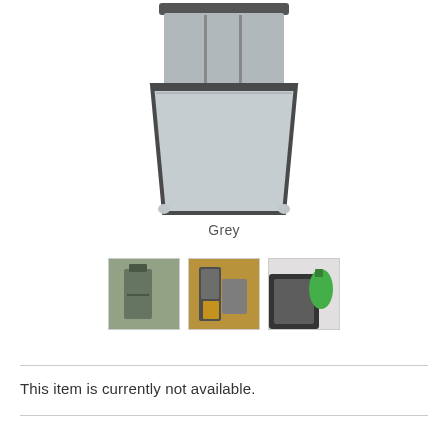[Figure (photo): Grey storage bag with open front pocket, shown mounted or hanging, with zipper handles visible. Light grey fabric with dark trim.]
Grey
[Figure (photo): Thumbnail 1: Bag in outdoor/garden setting]
[Figure (photo): Thumbnail 2: Bag with items inside, orange/yellow visible]
[Figure (photo): Thumbnail 3: Bag in car/vehicle context with green bottle]
This item is currently not available.